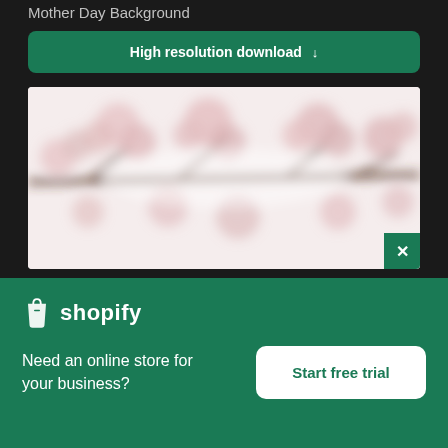Mother Day Background
High resolution download ↓
[Figure (photo): Blurred floral background image showing pink blossoms on branches against a white/light background]
[Figure (logo): Shopify logo with bag icon and wordmark 'shopify' in white on green background]
Need an online store for your business?
Start free trial